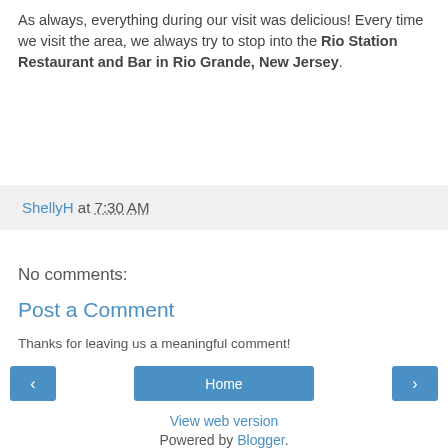As always, everything during our visit was delicious! Every time we visit the area, we always try to stop into the Rio Station Restaurant and Bar in Rio Grande, New Jersey.
ShellyH at 7:30 AM
No comments:
Post a Comment
Thanks for leaving us a meaningful comment!
< | Home | >
View web version
Powered by Blogger.
About Me